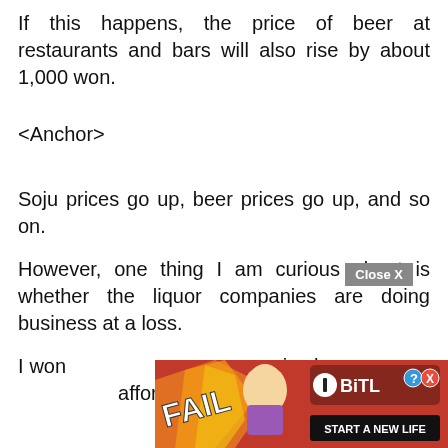If this happens, the price of beer at restaurants and bars will also rise by about 1,000 won.
<Anchor>
Soju prices go up, beer prices go up, and so on.
However, one thing I am curious about is whether the liquor companies are doing business at a loss.
I won[...] anies have [...] afford
[Figure (screenshot): Advertisement banner for BitLife game — 'FAIL' text overlay with cartoon woman, fire background, BitLife logo with help/close icons, 'START A NEW LIFE' button. Close X button above the ad.]